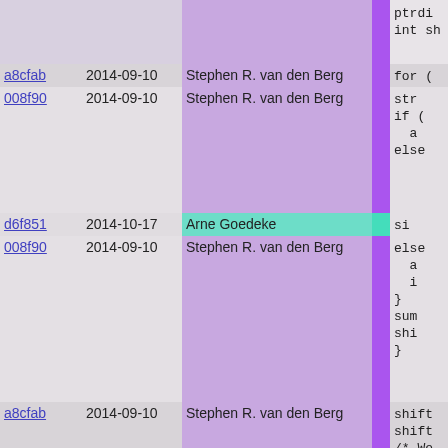| hash | date | author |  | code |
| --- | --- | --- | --- | --- |
|  |  |  |  | ptrdi
int sh |
| a8cfab | 2014-09-10 | Stephen R. van den Berg |  | for ( |
| 008f90 | 2014-09-10 | Stephen R. van den Berg |  | str
if (
  a
else |
| d6f851 | 2014-10-17 | Arne Goedeke |  | si |
| 008f90 | 2014-09-10 | Stephen R. van den Berg |  | else
  a
  i
}
sum
shi
} |
| a8cfab | 2014-09-10 | Stephen R. van den Berg |  | shift
shift
/* We
str->s |
| e95086 | 2014-08-29 | Stephen R. van den Berg |  |  |
| 008f90 | 2014-09-10 | Stephen R. van den Berg |  | if (!s |
| a8cfab | 2014-09-10 | Stephen R. van den Berg |  | if ( |
| 008f90 | 2014-09-10 | Stephen R. van den Berg |  | s |